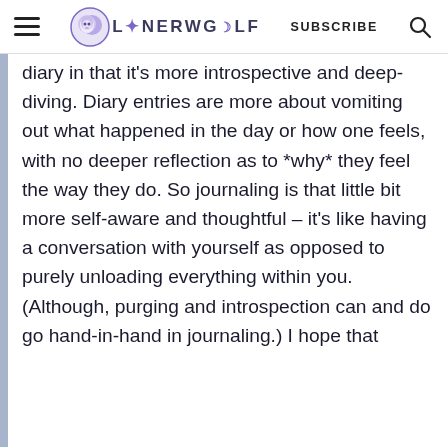LONERWOLF SUBSCRIBE
diary in that it's more introspective and deep-diving. Diary entries are more about vomiting out what happened in the day or how one feels, with no deeper reflection as to *why* they feel the way they do. So journaling is that little bit more self-aware and thoughtful – it's like having a conversation with yourself as opposed to purely unloading everything within you. (Although, purging and introspection can and do go hand-in-hand in journaling.) I hope that